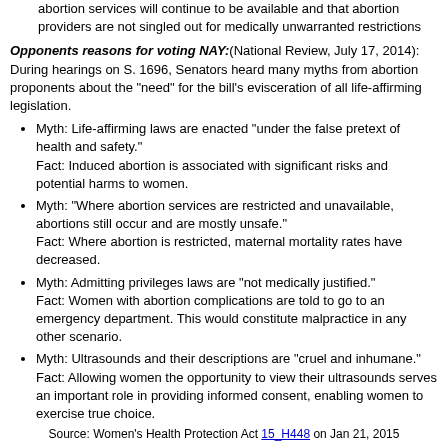abortion services will continue to be available and that abortion providers are not singled out for medically unwarranted restrictions
Opponents reasons for voting NAY:(National Review, July 17, 2014): During hearings on S. 1696, Senators heard many myths from abortion proponents about the "need" for the bill's evisceration of all life-affirming legislation.
Myth: Life-affirming laws are enacted "under the false pretext of health and safety." Fact: Induced abortion is associated with significant risks and potential harms to women.
Myth: "Where abortion services are restricted and unavailable, abortions still occur and are mostly unsafe." Fact: Where abortion is restricted, maternal mortality rates have decreased.
Myth: Admitting privileges laws are "not medically justified." Fact: Women with abortion complications are told to go to an emergency department. This would constitute malpractice in any other scenario.
Myth: Ultrasounds and their descriptions are "cruel and inhumane." Fact: Allowing women the opportunity to view their ultrasounds serves an important role in providing informed consent, enabling women to exercise true choice.
Source: Women's Health Protection Act 15_H448 on Jan 21, 2015
Funding abortion avoids discrimination against poor women.
O`Rourke voted NAY No Taxpayer Funding for Abortion Act
Heritage Action Summary: The No Taxpayer Funding for Abortion and Abortion